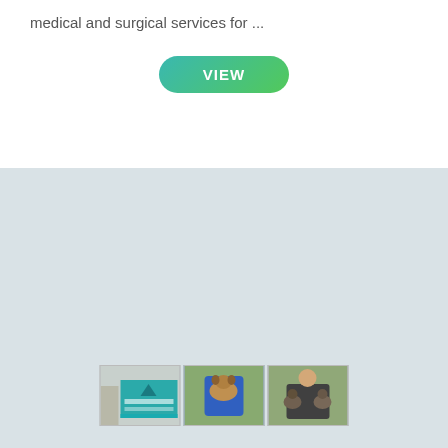medical and surgical services for ...
[Figure (other): A teal-to-green gradient pill-shaped button with the label VIEW in white text]
[Figure (photo): Light gray background section containing three small thumbnail photos: a veterinary clinic sign, a person holding a dog in a blue wrap, and a person holding two small dogs.]